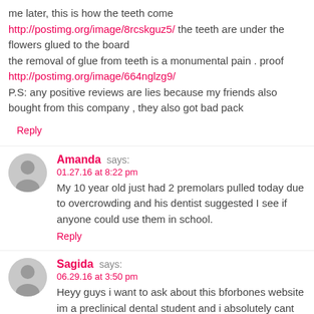me later, this is how the teeth come http://postimg.org/image/8rcskguz5/ the teeth are under the flowers glued to the board the removal of glue from teeth is a monumental pain . proof http://postimg.org/image/664nglzg9/ P.S: any positive reviews are lies because my friends also bought from this company , they also got bad pack
Reply
Amanda says: 01.27.16 at 8:22 pm My 10 year old just had 2 premolars pulled today due to overcrowding and his dentist suggested I see if anyone could use them in school.
Reply
Sagida says: 06.29.16 at 3:50 pm Heyy guys i want to ask about this bforbones website im a preclinical dental student and i absolutely cant